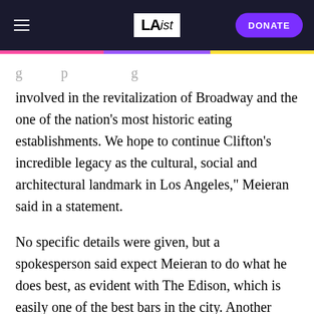LAist | DONATE
involved in the revitalization of Broadway and the one of the nation's most historic eating establishments. We hope to continue Clifton's incredible legacy as the cultural, social and architectural landmark in Los Angeles," Meieran said in a statement.
No specific details were given, but a spokesperson said expect Meieran to do what he does best, as evident with The Edison, which is easily one of the best bars in the city. Another version of the bar is set to open soon in New York City.